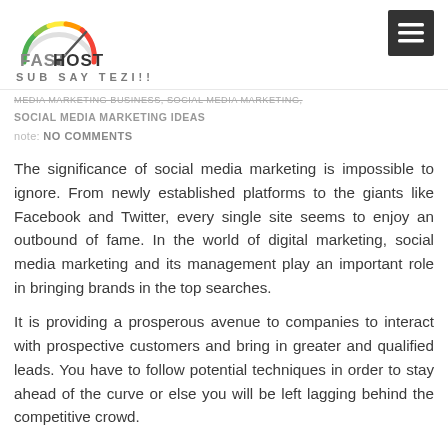FASTHOST SUB SAY TEZI!!
MEDIA MARKETING BUSINESS, SOCIAL MEDIA MARKETING, SOCIAL MEDIA MARKETING IDEAS
note: NO COMMENTS
The significance of social media marketing is impossible to ignore. From newly established platforms to the giants like Facebook and Twitter, every single site seems to enjoy an outbound of fame. In the world of digital marketing, social media marketing and its management play an important role in bringing brands in the top searches.
It is providing a prosperous avenue to companies to interact with prospective customers and bring in greater and qualified leads. You have to follow potential techniques in order to stay ahead of the curve or else you will be left lagging behind the competitive crowd.